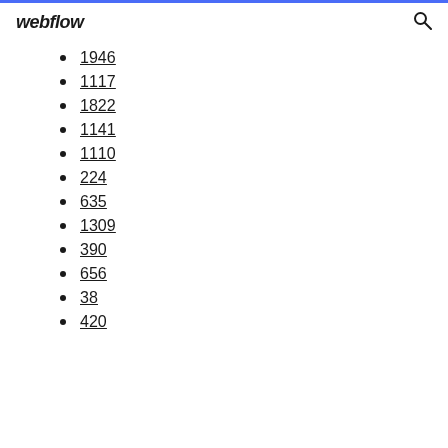webflow
1946
1117
1822
1141
1110
224
635
1309
390
656
38
420